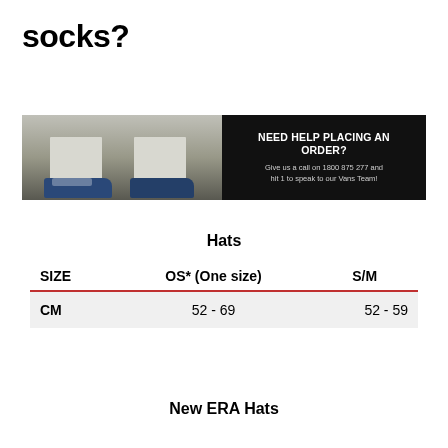socks?
[Figure (photo): Banner image showing person wearing Vans sneakers on left half, black background with text on right half: NEED HELP PLACING AN ORDER? Give us a call on 1800 875 277 and hit 1 to speak to our Vans Team!]
Hats
| SIZE | OS* (One size) | S/M |
| --- | --- | --- |
| CM | 52 - 69 | 52 - 59 |
New ERA Hats